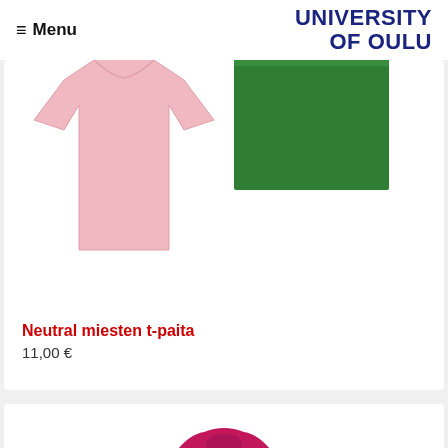≡ Menu | UNIVERSITY OF OULU
[Figure (photo): Pink men's t-shirt and green cloth/textile product displayed on white background]
Neutral miesten t-paita
11,00 €
[Figure (photo): Partial view of a pink/fuchsia product (appears to be a shirt) at the bottom of the page]